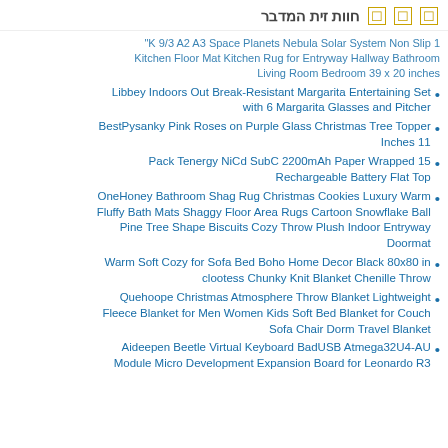חוות זית המדבר
K 9/3 A2 A3 Space Planets Nebula Solar System Non Slip 1" Kitchen Floor Mat Kitchen Rug for Entryway Hallway Bathroom Living Room Bedroom 39 x 20 inches
Libbey Indoors Out Break-Resistant Margarita Entertaining Set with 6 Margarita Glasses and Pitcher
BestPysanky Pink Roses on Purple Glass Christmas Tree Topper 11 Inches
Pack Tenergy NiCd SubC 2200mAh Paper Wrapped 15 Rechargeable Battery Flat Top
OneHoney Bathroom Shag Rug Christmas Cookies Luxury Warm Fluffy Bath Mats Shaggy Floor Area Rugs Cartoon Snowflake Ball Pine Tree Shape Biscuits Cozy Throw Plush Indoor Entryway Doormat
Warm Soft Cozy for Sofa Bed Boho Home Decor Black 80x80 in clootess Chunky Knit Blanket Chenille Throw
Quehoope Christmas Atmosphere Throw Blanket Lightweight Fleece Blanket for Men Women Kids Soft Bed Blanket for Couch Sofa Chair Dorm Travel Blanket
Aideepen Beetle Virtual Keyboard BadUSB Atmega32U4-AU Module Micro Development Expansion Board for Leonardo R3